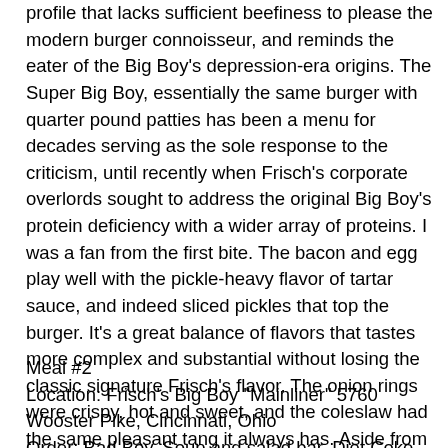profile that lacks sufficient beefiness to please the modern burger connoisseur, and reminds the eater of the Big Boy's depression-era origins. The Super Big Boy, essentially the same burger with quarter pound patties has been a menu for decades serving as the sole response to the criticism, until recently when Frisch's corporate overlords sought to address the original Big Boy's protein deficiency with a wider array of proteins. I was a fan from the first bite. The bacon and egg play well with the pickle-heavy flavor of tartar sauce, and indeed sliced pickles that top the burger. It's a great balance of flavors that tastes more complex and substantial without losing the classic signature Frisch's flavor. The onion rings were crispy, hot and sweet, and the coleslaw had the same pleasant tang it always has. Aside from the odor of sketchy buffet shrimp permeating the dining room, my in-depth exploration of Frisch's was off to a decent start.
Meal #2
Location: Frisch's Big Boy "Mainliner" 5760 Wooster Pike, Cincinnati, Ohio
Order: Bad Boy, Soup and salad bar, Diet Coke